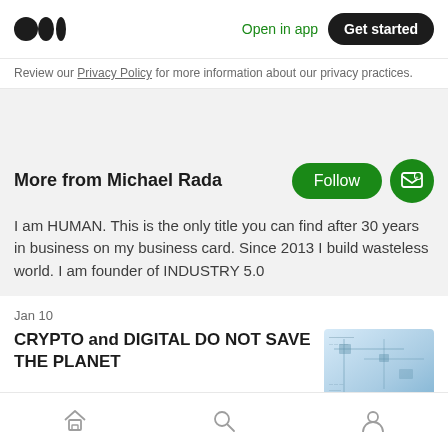Open in app  Get started
Review our Privacy Policy for more information about our privacy practices.
More from Michael Rada
I am HUMAN. This is the only title you can find after 30 years in business on my business card. Since 2013 I build wasteless world. I am founder of INDUSTRY 5.0
Jan 10
CRYPTO and DIGITAL DO NOT SAVE THE PLANET
[Figure (photo): Thumbnail image for article about crypto and digital]
Home  Search  Profile